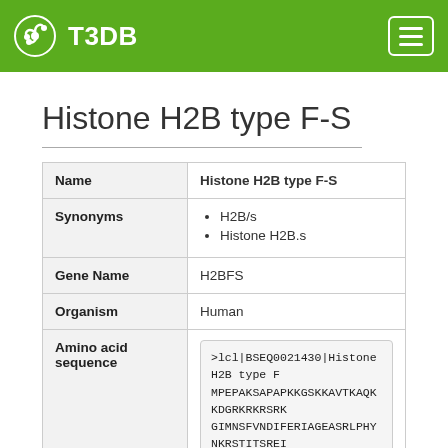T3DB
Histone H2B type F-S
| Field | Value |
| --- | --- |
| Name | Histone H2B type F-S |
| Synonyms | H2B/s
Histone H2B.s |
| Gene Name | H2BFS |
| Organism | Human |
| Amino acid sequence | >lcl|BSEQ0021430|Histone H2B type F
MPEPAKSAPAPKKGSKKAVTKAQKKDGRKRKRSRK
GIMNSFVNDIFERIAGEASRLPHYNKRSTITSREI
KYTSAK |